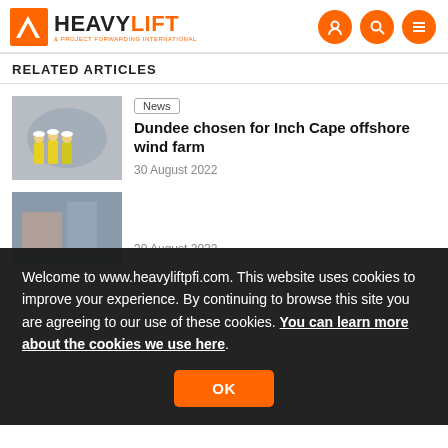Heavy Lift & Project Forwarding International
RELATED ARTICLES
[Figure (photo): Three workers in yellow high-vis jackets and hard hats inside a tunnel or industrial structure]
News
Dundee chosen for Inch Cape offshore wind farm
30 August 2022
Welcome to www.heavyliftpfi.com. This website uses cookies to improve your experience. By continuing to browse this site you are agreeing to our use of these cookies. You can learn more about the cookies we use here.
OK
30 August 2022